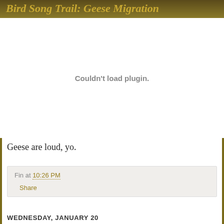Bird Song Trail: Geese Migration
[Figure (other): Couldn't load plugin. — embedded audio/video plugin area that failed to load]
Geese are loud, yo.
Fin at 10:26 PM
Share
WEDNESDAY, JANUARY 20